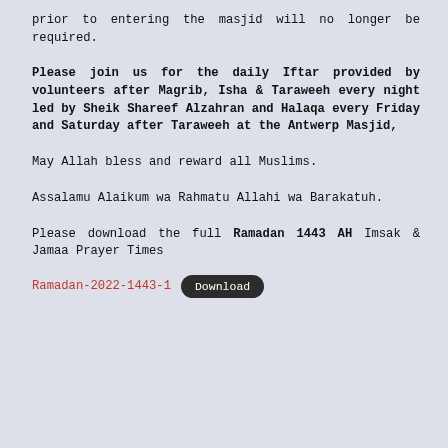prior to entering the masjid will no longer be required.
Please join us for the daily Iftar provided by volunteers after Magrib, Isha & Taraweeh every night led by Sheik Shareef Alzahran and Halaqa every Friday and Saturday after Taraweeh at the Antwerp Masjid,
May Allah bless and reward all Muslims.
Assalamu Alaikum wa Rahmatu Allahi wa Barakatuh.
Please download the full Ramadan 1443 AH Imsak & Jamaa Prayer Times
Ramadan-2022-1443-1   Download